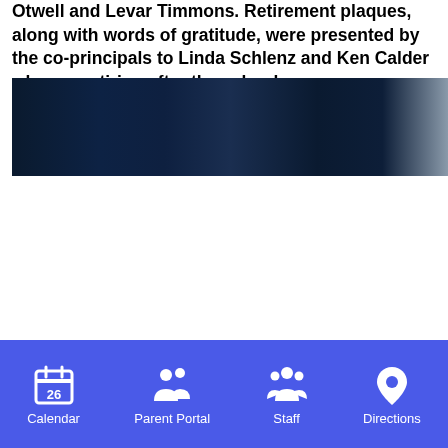Otwell and Levar Timmons. Retirement plaques, along with words of gratitude, were presented by the co-principals to Linda Schlenz and Ken Calder who are retiring after the school year.
[Figure (photo): A dark photograph showing people at what appears to be an indoor school event, mostly dark/navy tones with a light strip on the right edge.]
Calendar | Parent Portal | Staff | Directions